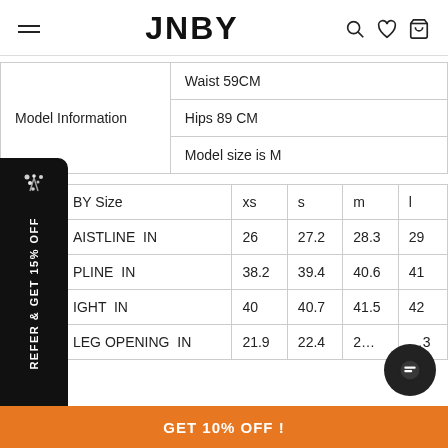JNBY
| Model Information |  |
| --- | --- |
| Model Information | Waist 59CM |
|  | Hips 89 CM |
|  | Model size is M |
| BY Size | xs | s | m | l |
| --- | --- | --- | --- | --- |
| WAISTLINE  IN | 26 | 27.2 | 28.3 | 29 |
| HIPLINE  IN | 38.2 | 39.4 | 40.6 | 41 |
| HEIGHT  IN | 40 | 40.7 | 41.5 | 42 |
| LEG OPENING  IN | 21.9 | 22.4 | 2… | …3 |
REFER & GET 15% OFF
GET 10% OFF !